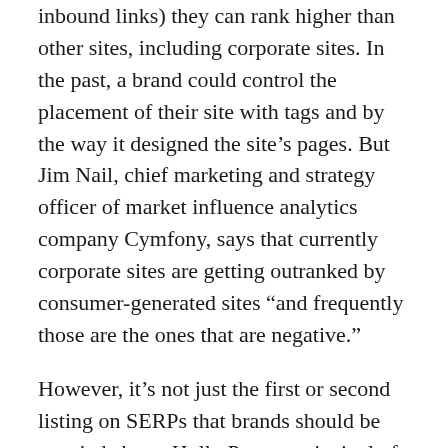inbound links) they can rank higher than other sites, including corporate sites. In the past, a brand could control the placement of their site with tags and by the way it designed the site's pages. But Jim Nail, chief marketing and strategy officer of market influence analytics company Cymfony, says that currently corporate sites are getting outranked by consumer-generated sites “and frequently those are the ones that are negative.”
However, it’s not just the first or second listing on SERPs that brands should be worried about. Holly Preuss, principal of Granular Solutions, an online customer acquisitions services company, says companies should be managing the top 10 and particularly the top five because “above the fold is crucial.” Key agrees. He says it’s similar to how companies must manage their brand on the shelf in the supermarket: Companies must manage their top